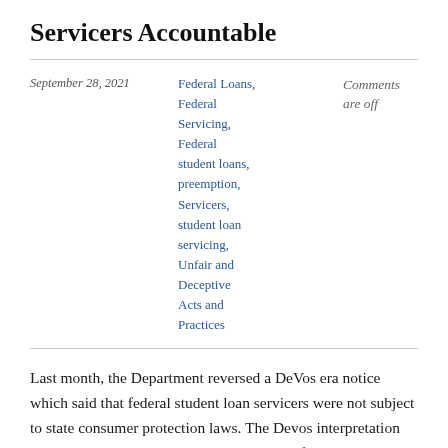Servicers Accountable
September 28, 2021
Federal Loans, Federal Servicing, Federal student loans, preemption, Servicers, student loan servicing, Unfair and Deceptive Acts and Practices
Comments are off
Last month, the Department reversed a DeVos era notice which said that federal student loan servicers were not subject to state consumer protection laws. The Devos interpretation said that states' laws that protect borrowers from servicers' false and